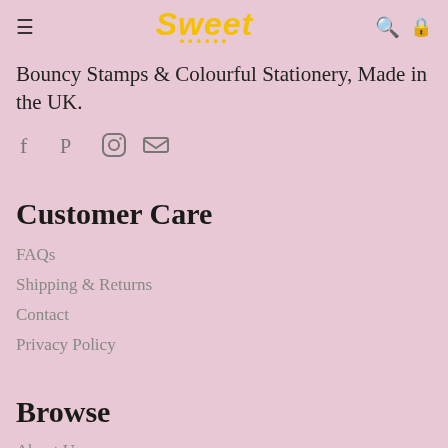Sweet — Bouncy Stamps & Colourful Stationery, Made in the UK.
Bouncy Stamps & Colourful Stationery, Made in the UK.
[Figure (other): Social media icons: Facebook, Pinterest, Instagram, Email]
Customer Care
FAQs
Shipping & Returns
Contact
Privacy Policy
Browse
About Us